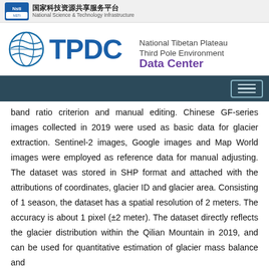国家科技资源共享服务平台 | National Science & Technology Infrastructure
[Figure (logo): TPDC National Tibetan Plateau Third Pole Environment Data Center logo with globe/wave icon]
band ratio criterion and manual editing. Chinese GF-series images collected in 2019 were used as basic data for glacier extraction. Sentinel-2 images, Google images and Map World images were employed as reference data for manual adjusting. The dataset was stored in SHP format and attached with the attributions of coordinates, glacier ID and glacier area. Consisting of 1 season, the dataset has a spatial resolution of 2 meters. The accuracy is about 1 pixel (±2 meter). The dataset directly reflects the glacier distribution within the Qilian Mountain in 2019, and can be used for quantitative estimation of glacier mass balance and